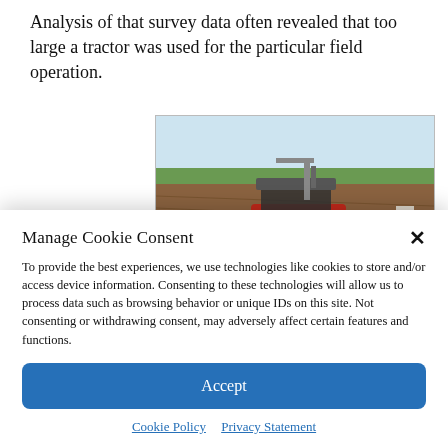Analysis of that survey data often revealed that too large a tractor was used for the particular field operation.
[Figure (photo): A red tractor on a plowed agricultural field, viewed from a low angle, with a flat landscape and trees in the background under a light sky.]
Manage Cookie Consent
To provide the best experiences, we use technologies like cookies to store and/or access device information. Consenting to these technologies will allow us to process data such as browsing behavior or unique IDs on this site. Not consenting or withdrawing consent, may adversely affect certain features and functions.
Accept
Cookie Policy   Privacy Statement